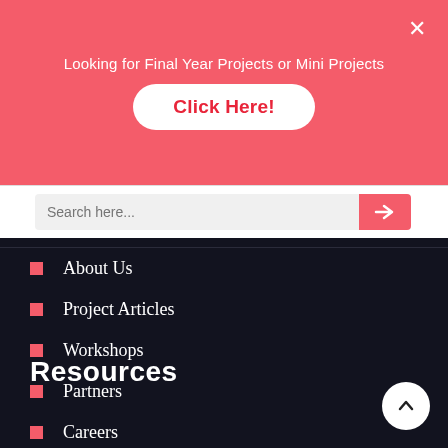[Figure (screenshot): Promotional banner with pink/red background saying 'Looking for Final Year Projects or Mini Projects' with a white 'Click Here!' button and an X close button]
[Figure (screenshot): Search bar with input field placeholder 'Search here...' and a pink search button with arrow icon]
About Us
Project Articles
Workshops
Partners
Careers
Contact Us
Resources